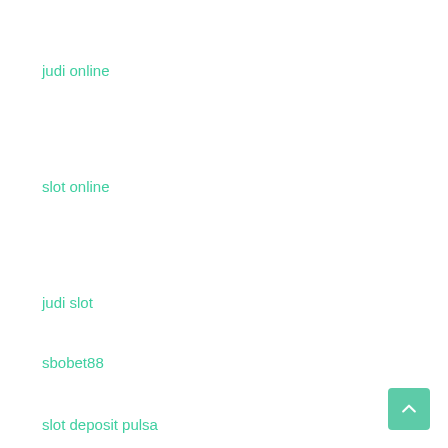judi online
slot online
judi slot
sbobet88
slot deposit pulsa